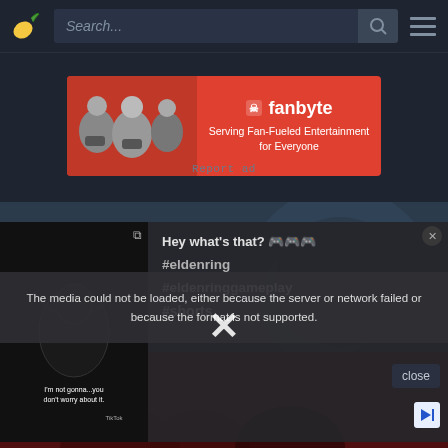[Figure (screenshot): Website header with banana logo, search bar, and hamburger menu on dark background]
[Figure (screenshot): Fanbyte advertisement banner: orange/red background with people playing games, skull icon, fanbyte logo, tagline 'Serving Fan-Fueled Entertainment for Everyone']
Report ad
[Figure (screenshot): Video thumbnail from TikTok showing a dark bird image with caption 'I'm not gonna... you don't worry about it']
Hey what's that? 🎮🎮🎮
#eldenring
#eldenringgameplay
#shorts
The media could not be loaded, either because the server or network failed or because the format is not supported.
close